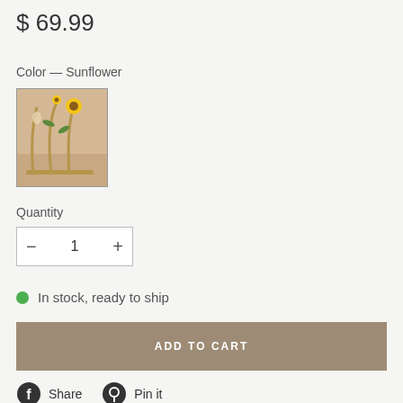$ 69.99
Color — Sunflower
[Figure (photo): Product photo thumbnail of sunflower mobile decoration with gold arches and sunflower accent]
Quantity
1
In stock, ready to ship
ADD TO CART
Share
Pin it